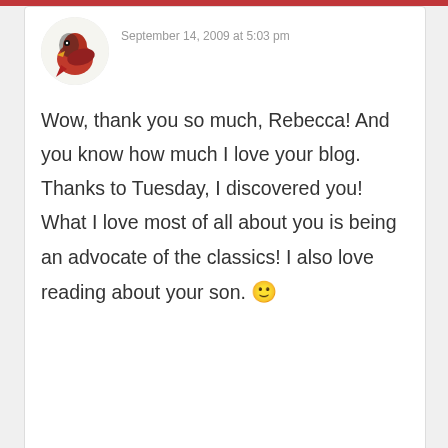September 14, 2009 at 5:03 pm
Wow, thank you so much, Rebecca! And you know how much I love your blog. Thanks to Tuesday, I discovered you! What I love most of all about you is being an advocate of the classics! I also love reading about your son. 🙂
Pingback: Dog Bottle Scissors | Literary Escapism
[Figure (photo): Avatar image of a bird (cardinal) at top of first comment]
[Figure (photo): Avatar image of a person at bottom third comment card]